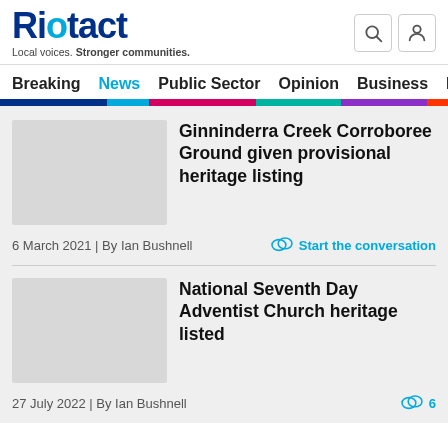Riotact — Local voices. Stronger communities.
Breaking  News  Public Sector  Opinion  Business  R
Ginninderra Creek Corroboree Ground given provisional heritage listing
6 March 2021 | By Ian Bushnell
Start the conversation
National Seventh Day Adventist Church heritage listed
27 July 2022 | By Ian Bushnell
6